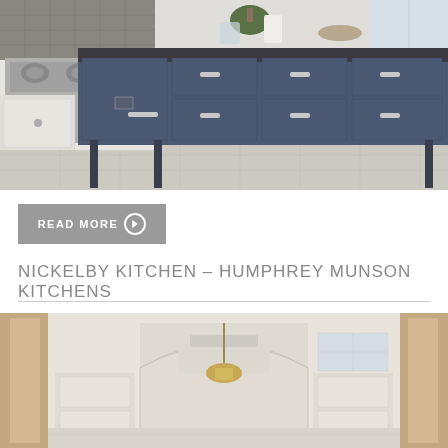[Figure (photo): A large navy/slate blue kitchen island with dark stone countertop, silver hardware, and legs. In the background, a stainless steel range cooker and white cabinetry with a patterned tile backsplash. Light wood-toned floor tiles.]
READ MORE ▶
NICKELBY KITCHEN – HUMPHREY MUNSON KITCHENS
[Figure (photo): A bright, cream-colored kitchen interior with arched alcove, pendant gold/brass light fixture, white cabinetry, and dark wooden door frames visible on the sides.]